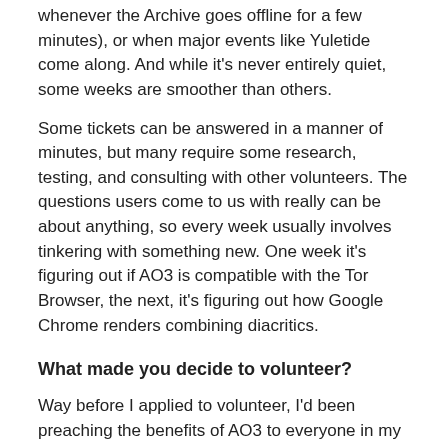whenever the Archive goes offline for a few minutes), or when major events like Yuletide come along. And while it's never entirely quiet, some weeks are smoother than others.
Some tickets can be answered in a manner of minutes, but many require some research, testing, and consulting with other volunteers. The questions users come to us with really can be about anything, so every week usually involves tinkering with something new. One week it's figuring out if AO3 is compatible with the Tor Browser, the next, it's figuring out how Google Chrome renders combining diacritics.
What made you decide to volunteer?
Way before I applied to volunteer, I'd been preaching the benefits of AO3 to everyone in my writing circles, trying to convey to them just how awesome of a platform it was. I found I really enjoyed showing off all the neat things you could do with the site, and I loved to tout its policy of maximum inclusiveness.
Eventually, I realized that my enthusiasm could maybe be made to actually help the Archive itself. With AO3 Support, I've found I've been able to directly improve people's experiences of using the Archive, helping them enjoy it the same way I do. And that has been incredibly rewarding.